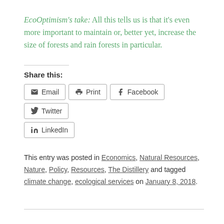EcoOptimism's take: All this tells us is that it's even more important to maintain or, better yet, increase the size of forests and rain forests in particular.
Share this:
This entry was posted in Economics, Natural Resources, Nature, Policy, Resources, The Distillery and tagged climate change, ecological services on January 8, 2018.